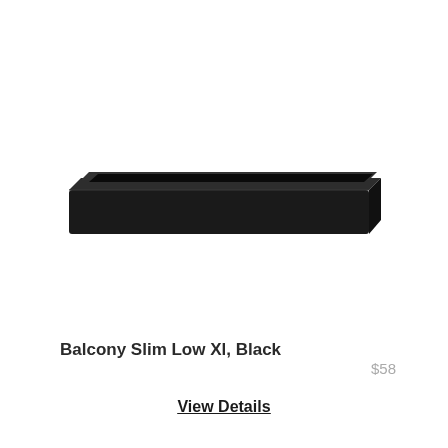[Figure (photo): A long, low rectangular planter box in matte black finish, viewed from a slight angle showing the top opening and front face. The planter is wide and very shallow in height.]
Balcony Slim Low Xl, Black
$58
View Details